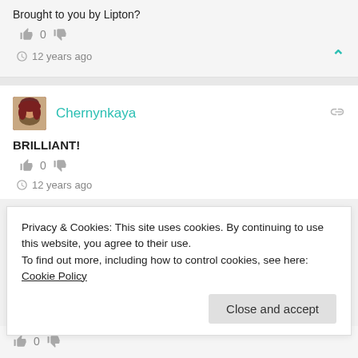Brought to you by Lipton?
👍 0 👎
🕐 12 years ago
Chernynkaya
BRILLIANT!
👍 0 👎
🕐 12 years ago
Privacy & Cookies: This site uses cookies. By continuing to use this website, you agree to their use.
To find out more, including how to control cookies, see here: Cookie Policy
Close and accept
👍 0 👎